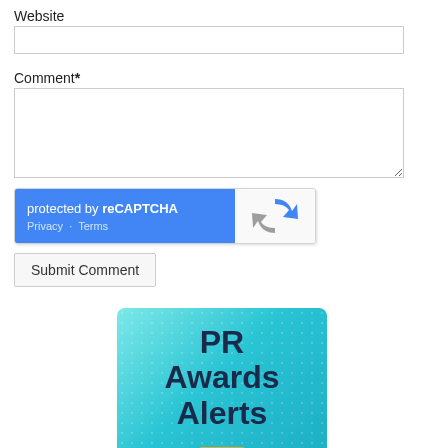Website
Comment*
[Figure (screenshot): reCAPTCHA widget: blue left panel with 'protected by reCAPTCHA' text and Privacy/Terms links; white right panel with reCAPTCHA logo]
Submit Comment
[Figure (illustration): PR Awards Alerts banner: teal/cyan gradient background with dot pattern, bold dark text 'PR Awards Alerts', orange play button below]